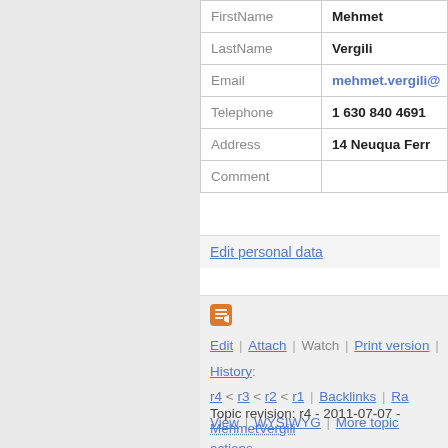| Field | Value |
| --- | --- |
| FirstName | Mehmet |
| LastName | Vergili |
| Email | mehmet.vergili@... |
| Telephone | 1 630 840 4691 |
| Address | 14 Neuqua Ferr... |
| Comment |  |
Edit personal data
[Figure (logo): Orange wiki edit icon]
Edit | Attach | Watch | Print version | History: r4 < r3 < r2 < r1 | Backlinks | Ra... View | WYSIWYG | More topic actions
Topic revision: r4 - 2011-07-07 - MehmetVergili